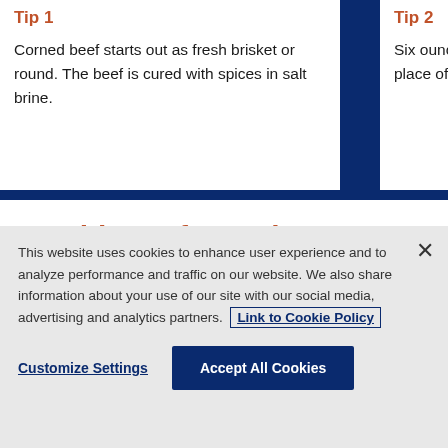Tip 1
Corned beef starts out as fresh brisket or round. The beef is cured with spices in salt brine.
Tip 2
Six ounces of s mozzarella che place of the sli
Nutrition Information
This website uses cookies to enhance user experience and to analyze performance and traffic on our website. We also share information about your use of our site with our social media, advertising and analytics partners. Link to Cookie Policy
Customize Settings
Accept All Cookies